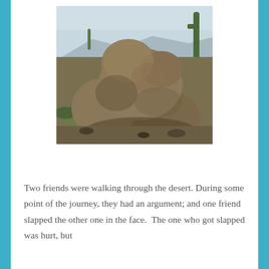[Figure (photo): A large rock formation in a desert landscape resembling a lion or animal shape, with saguaro cacti visible in the background and desert scrub vegetation at the base.]
Two friends were walking through the desert. During some point of the journey, they had an argument; and one friend slapped the other one in the face.  The one who got slapped was hurt, but